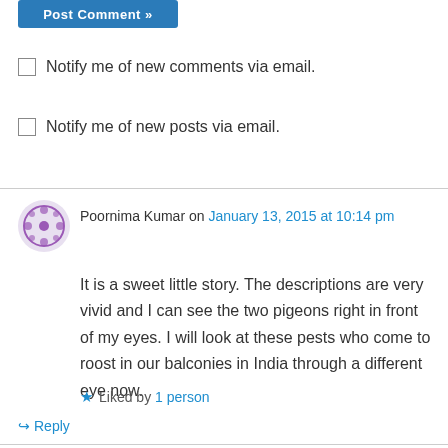[Figure (other): Blue 'Post Comment' button (partially visible at top)]
Notify me of new comments via email.
Notify me of new posts via email.
Poornima Kumar on January 13, 2015 at 10:14 pm
It is a sweet little story. The descriptions are very vivid and I can see the two pigeons right in front of my eyes. I will look at these pests who come to roost in our balconies in India through a different eye now.
Liked by 1 person
Reply